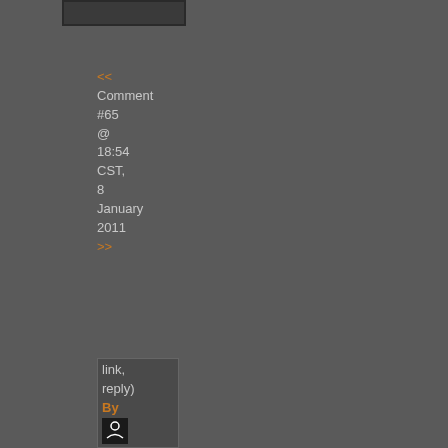[Figure (other): Small dark button or banner element at top left]
<< Comment #65 @ 18:54 CST, 8 January 2011 >>
link, reply) By [avatar icon] tbo... - Reply to #59 The sen is rub but the sha and wei is rea